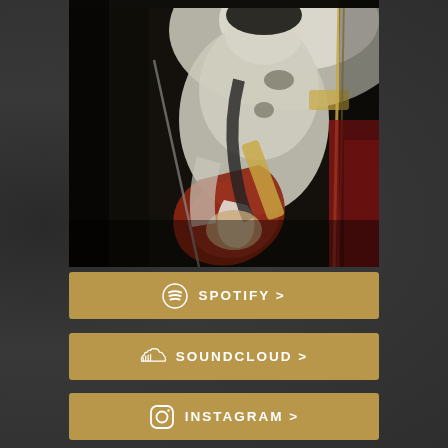[Figure (photo): A musician playing electric guitar on a dark stage, wearing a light-colored shirt with guitar strap, microphone stand visible]
SPOTIFY >
SOUNDCLOUD >
INSTAGRAM >